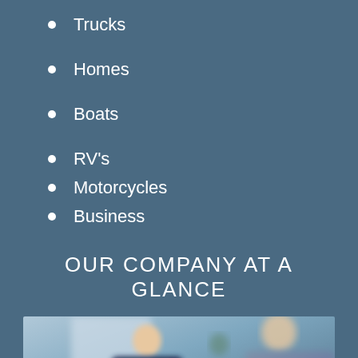Trucks
Homes
Boats
RV's
Motorcycles
Business
OUR COMPANY AT A GLANCE
[Figure (photo): Two business people in suits at a meeting table with a laptop, glass of water, and documents; blurred background with window and plant]